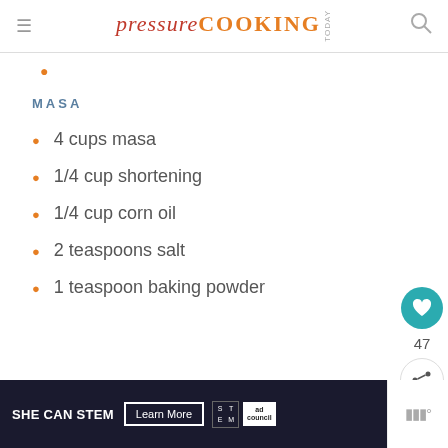pressure COOKING TODAY
MASA
4 cups masa
1/4 cup shortening
1/4 cup corn oil
2 teaspoons salt
1 teaspoon baking powder
[Figure (infographic): SHE CAN STEM advertisement banner with Learn More button and STEM/Ad Council logos]